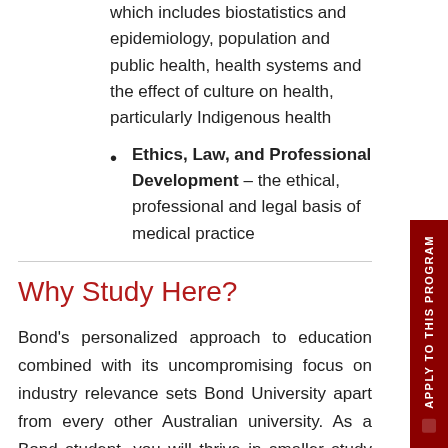which includes biostatistics and epidemiology, population and public health, health systems and the effect of culture on health, particularly Indigenous health
Ethics, Law, and Professional Development – the ethical, professional and legal basis of medical practice
Why Study Here?
Bond's personalized approach to education combined with its uncompromising focus on industry relevance sets Bond University apart from every other Australian university. As a Bond student, you will thrive in smaller study groups where eminent professors and industry-experienced lecturers know you by name.